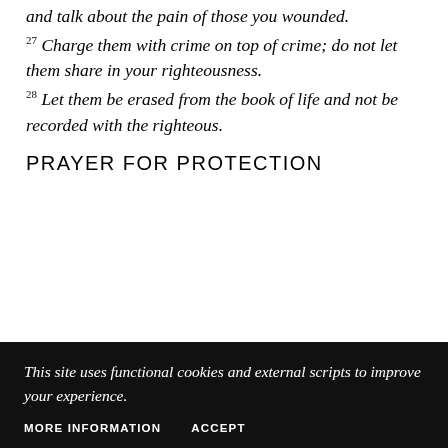and talk about the pain of those you wounded.
27 Charge them with crime on top of crime; do not let them share in your righteousness.
28 Let them be erased from the book of life and not be recorded with the righteous.
PRAYER FOR PROTECTION
This site uses functional cookies and external scripts to improve your experience.
MORE INFORMATION    ACCEPT
31 They will praise the Lord my...